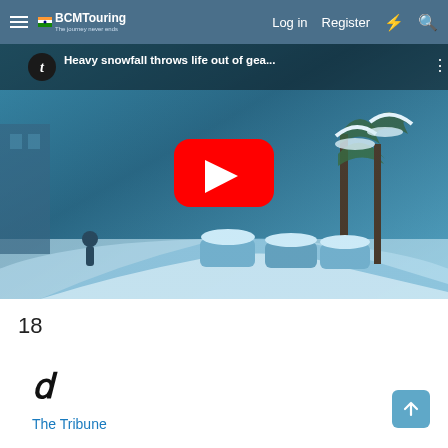BCMTouring - Log in  Register
[Figure (screenshot): YouTube video thumbnail showing heavy snowfall on a road with snow-covered cars and trees. Title: 'Heavy snowfall throws life out of gea...' with The Tribune channel icon and a red YouTube play button.]
18
[Figure (logo): The Tribune newspaper logo - italic T character]
The Tribune